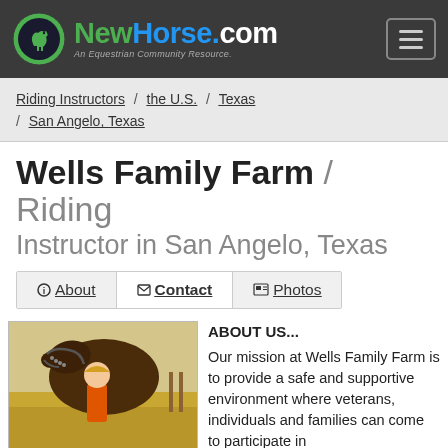NewHorse.com - An Equestrian Community Resource.
Riding Instructors / the U.S. / Texas / San Angelo, Texas
Wells Family Farm / Riding Instructor in San Angelo, Texas
About | Contact | Photos
[Figure (photo): Child hugging a horse outdoors in a dry field]
ABOUT US... Our mission at Wells Family Farm is to provide a safe and supportive environment where veterans, individuals and families can come to participate in various activities that teach about self-reliance; becoming